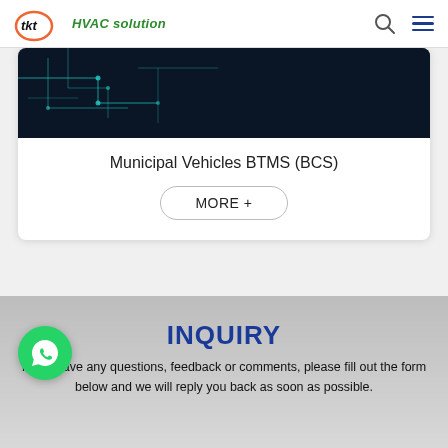tkt HVAC solution
[Figure (screenshot): Dark circuit board background image with teal/blue circuit traces on a dark navy background, partially visible at top of card]
Municipal Vehicles BTMS (BCS)
MORE +
INQUIRY
If you have any questions, feedback or comments, please fill out the form below and we will reply you back as soon as possible.